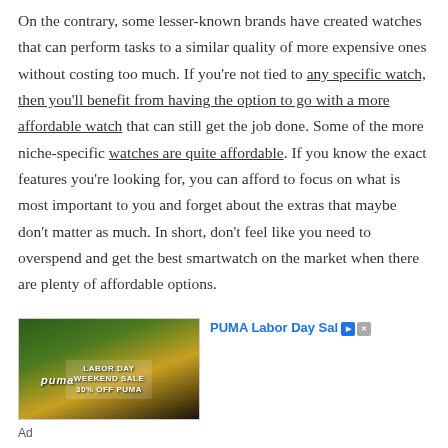On the contrary, some lesser-known brands have created watches that can perform tasks to a similar quality of more expensive ones without costing too much. If you're not tied to any specific watch, then you'll benefit from having the option to go with a more affordable watch that can still get the job done. Some of the more niche-specific watches are quite affordable. If you know the exact features you're looking for, you can afford to focus on what is most important to you and forget about the extras that maybe don't matter as much. In short, don't feel like you need to overspend and get the best smartwatch on the market when there are plenty of affordable options.
[Figure (photo): PUMA Labor Day Weekend Sale advertisement banner showing two people outdoors with text 'LABOR DAY WEEKEND SALE 30% OFF PUMA']
Ad